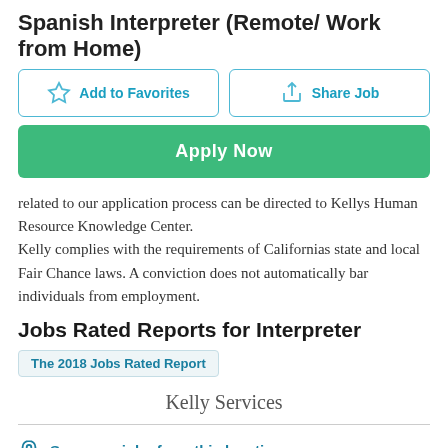Spanish Interpreter (Remote/ Work from Home)
Add to Favorites | Share Job
Apply Now
related to our application process can be directed to Kellys Human Resource Knowledge Center.
Kelly complies with the requirements of Californias state and local Fair Chance laws. A conviction does not automatically bar individuals from employment.
Jobs Rated Reports for Interpreter
The 2018 Jobs Rated Report
Kelly Services
See more jobs from this location
See more jobs from this company